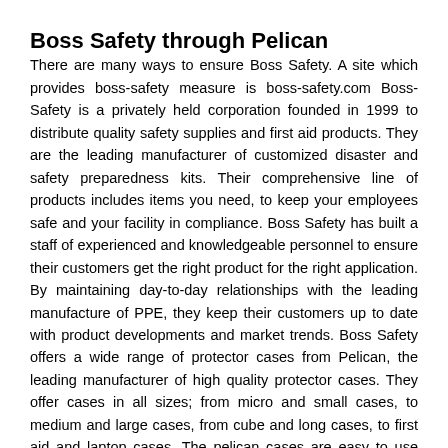Boss Safety through Pelican
There are many ways to ensure Boss Safety. A site which provides boss-safety measure is boss-safety.com Boss-Safety is a privately held corporation founded in 1999 to distribute quality safety supplies and first aid products. They are the leading manufacturer of customized disaster and safety preparedness kits. Their comprehensive line of products includes items you need, to keep your employees safe and your facility in compliance. Boss Safety has built a staff of experienced and knowledgeable personnel to ensure their customers get the right product for the right application. By maintaining day-to-day relationships with the leading manufacture of PPE, they keep their customers up to date with product developments and market trends. Boss Safety offers a wide range of protector cases from Pelican, the leading manufacturer of high quality protector cases. They offer cases in all sizes; from micro and small cases, to medium and large cases, from cube and long cases, to first aid and laptop cases. The pelican cases are easy to use and affordable priced. Pelican protector cases are durable and